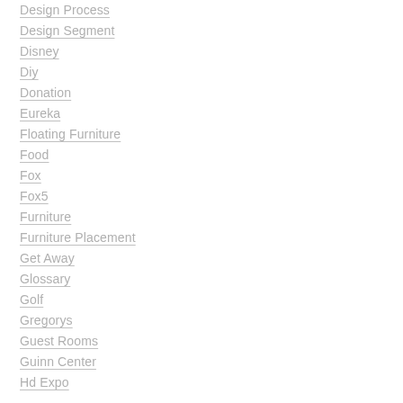Design Process
Design Segment
Disney
Diy
Donation
Eureka
Floating Furniture
Food
Fox
Fox5
Furniture
Furniture Placement
Get Away
Glossary
Golf
Gregorys
Guest Rooms
Guinn Center
Hd Expo